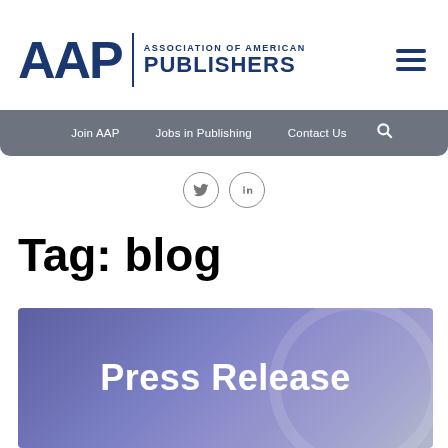[Figure (logo): AAP Association of American Publishers logo in dark navy blue, with large AAP lettering, a vertical divider, and stacked text reading ASSOCIATION OF AMERICAN PUBLISHERS]
[Figure (other): Hamburger menu icon (three horizontal lines) in dark navy blue]
Join AAP   Jobs in Publishing   Contact Us
[Figure (other): Social media icons: Twitter bird and LinkedIn 'in' logo, both in circular outlines]
Tag: blog
[Figure (other): Purple gradient banner with bold white text reading 'Press Release']